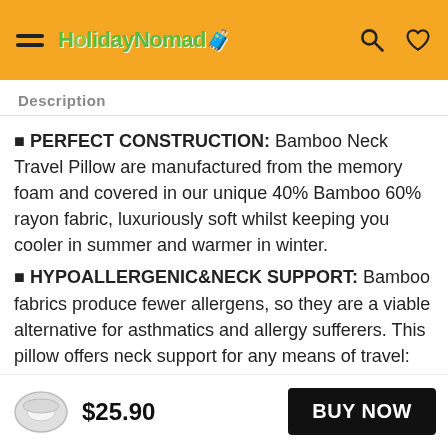HolidayNomad [logo with hamburger menu, search and heart icons]
Description
🟧 PERFECT CONSTRUCTION: Bamboo Neck Travel Pillow are manufactured from the memory foam and covered in our unique 40% Bamboo 60% rayon fabric, luxuriously soft whilst keeping you cooler in summer and warmer in winter.
🟧 HYPOALLERGENIC&NECK SUPPORT: Bamboo fabrics produce fewer allergens, so they are a viable alternative for asthmatics and allergy sufferers. This pillow offers neck support for any means of travel: road trip, flight or just sleeping at home.
$25.90
BUY NOW